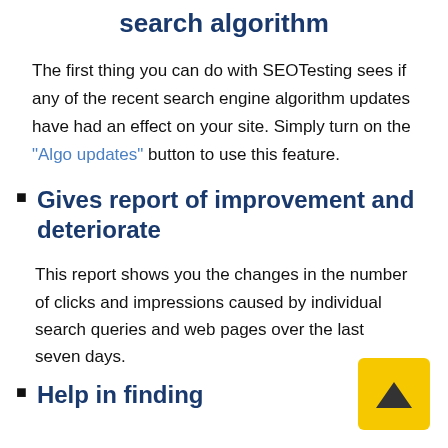search algorithm
The first thing you can do with SEOTesting sees if any of the recent search engine algorithm updates have had an effect on your site. Simply turn on the "Algo updates" button to use this feature.
Gives report of improvement and deteriorate
This report shows you the changes in the number of clicks and impressions caused by individual search queries and web pages over the last seven days.
Help in finding